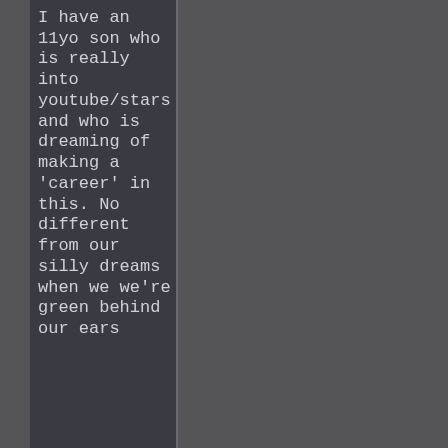I have an 11yo son who is really into youtube/stars and who is dreaming of making a 'career' in this. No different from our silly dreams when we we're green behind our ears